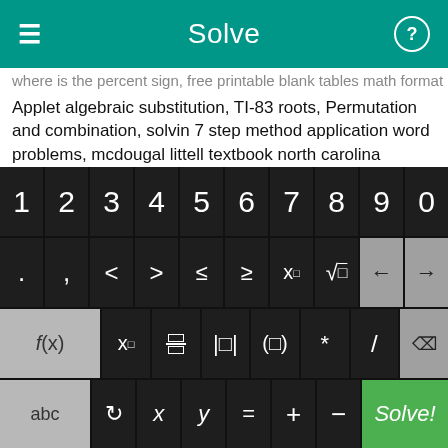Solve
where is the percent sign, free printable blank tables math format
Applet algebraic substitution, TI-83 roots, Permutation and combination, solvin 7 step method application word problems, mcdougal littell textbook north carolina answers, adding positive integers lesson, second order partial differential non homogeneous.
BUSINESS PROBLEMS IN ALGEBRA, converting percentages into fractions math worksheet, help with agebra, Factoring Calculator, free mathcad-like.
[Figure (screenshot): A math keyboard interface with rows of keys: digits 1-9,0; symbols including period, comma, <, >, ≤, ≥, x^n, √, back/forward arrows; function keys f(x), x subscript, fraction, absolute value, grouping, *, /,  backspace; and bottom row with abc, undo, x, y, =, +, -, and Solve! button in green.]